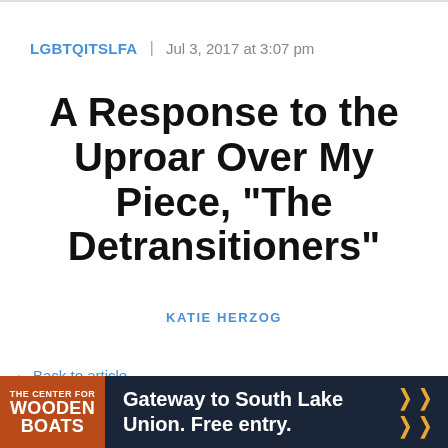LGBTQITSLFA | Jul 3, 2017 at 3:07 pm
A Response to the Uproar Over My Piece, "The Detransitioners"
KATIE HERZOG
← Back to article
∨ nments
[Figure (other): Advertisement banner for The Center for Wooden Boats: Gateway to South Lake Union. Free entry.]